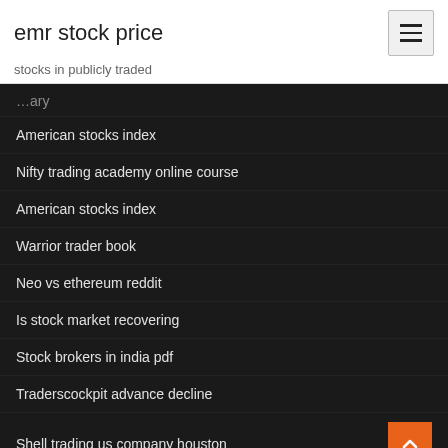emr stock price
stocks in publicly traded
American stocks index
Nifty trading academy online course
American stocks index
Warrior trader book
Neo vs ethereum reddit
Is stock market recovering
Stock brokers in india pdf
Traderscockpit advance decline
Shell trading us company houston
Daily bitcoin price history